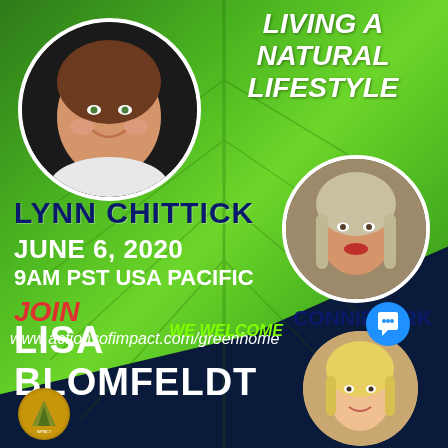LIVING A NATURAL LIFESTYLE
[Figure (photo): Circular portrait photo of Lynn Chittick, a smiling woman with brown hair]
[Figure (photo): Circular portrait photo of Connie Kirk, a woman with long blonde hair]
LYNN CHITTICK
JUNE 6, 2020
9AM PST USA PACIFIC
JOIN
www.actionsofimpact.com/greenhome
CONNIE KIRK
WE WELCOME
LISA BLOMFELDT
[Figure (photo): Circular portrait photo of Lisa Blomfeldt, a woman with blonde hair]
[Figure (logo): Gold circular logo/seal at bottom left]